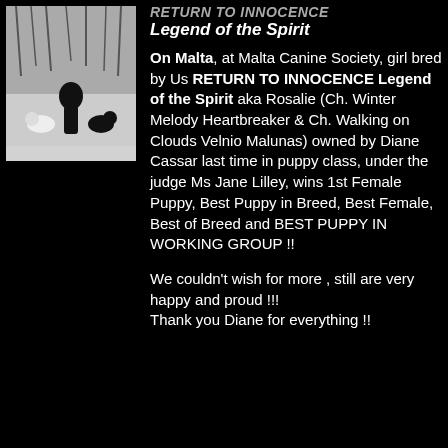[Figure (photo): A person kneeling in snow with two dogs (one white, one black)]
RETURN TO INNOCENCE Legend of the Spirit
On Malta, at Malta Canine Society, girl bred by Us RETURN TO INNOCENCE Legend of the Spirit aka Rosalie (Ch. Winter Melody Heartbreaker & Ch. Walking on Clouds Velnio Malunas) owned by Diane Cassar last time in puppy class, under the judge Ms Jane Lilley, wins 1st Female Puppy, Best Puppy in Breed, Best Female, Best of Breed and BEST PUPPY IN WORKING GROUP !!
We couldn't wish for more , still are very happy and proud !!! Thank you Diane for everything !!